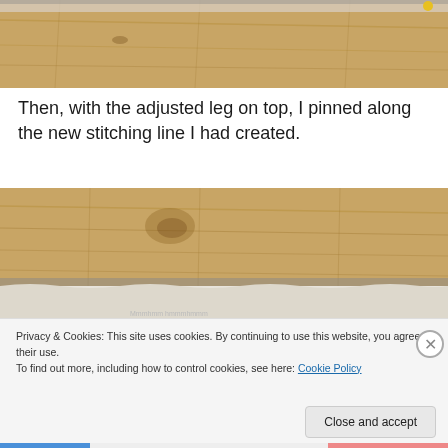[Figure (photo): Photo of wooden floor with a rug or fabric piece partially visible at the edge, top portion of image showing floor grain and fabric edge]
Then, with the adjusted leg on top, I pinned along the new stitching line I had created.
[Figure (photo): Photo of wooden floor with a white/light fabric piece laid on top, showing stitching or pinning along an edge]
Privacy & Cookies: This site uses cookies. By continuing to use this website, you agree to their use.
To find out more, including how to control cookies, see here: Cookie Policy